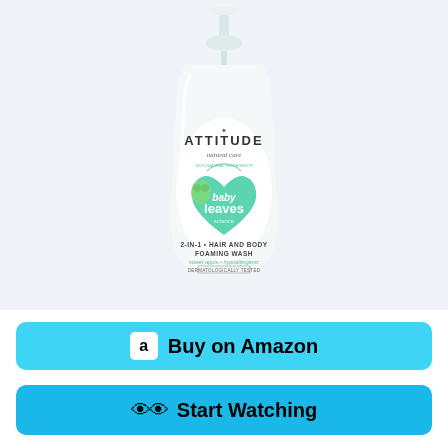[Figure (photo): ATTITUDE natural care baby leaves science 2-IN-1 HAIR AND BODY FOAMING WASH sweet apple hypoallergenic dermatologically tested product bottle with pump dispenser. White bottle with green heart-shaped label featuring a cartoon koala.]
Buy on Amazon
Start Watching